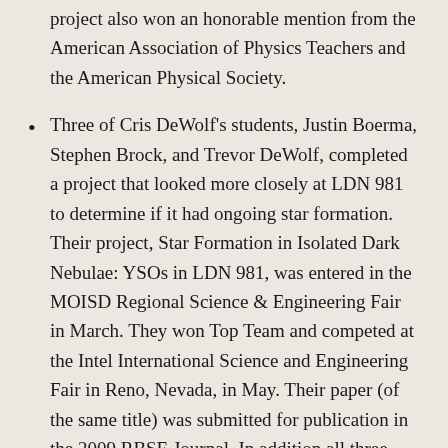project also won an honorable mention from the American Association of Physics Teachers and the American Physical Society.
Three of Cris DeWolf's students, Justin Boerma, Stephen Brock, and Trevor DeWolf, completed a project that looked more closely at LDN 981 to determine if it had ongoing star formation. Their project, Star Formation in Isolated Dark Nebulae: YSOs in LDN 981, was entered in the MOISD Regional Science & Engineering Fair in March. They won Top Team and competed at the Intel International Science and Engineering Fair in Reno, Nevada, in May. Their paper (of the same title) was submitted for publication in the 2009 RBSE Journal. In addition all three students received an "Award of Excellence" from the Michigan Earth Science Teachers Association for High Achievement in the Earth & Space Sciences and for the top Earth & Space related project.
Tim Spuck's student Rachele Siegel presented her research